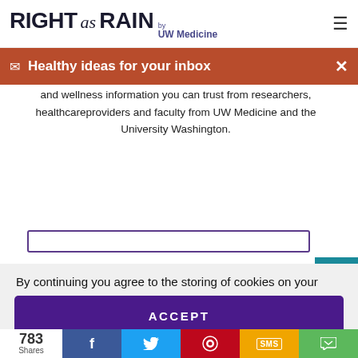RIGHT as RAIN by UW Medicine
Healthy ideas for your inbox
and wellness information you can trust from researchers, healthcareproviders and faculty from UW Medicine and the University Washington.
By continuing you agree to the storing of cookies on your device to enhance site navigation, analyze site usage and assist in marketing efforts. For more information, see Website Policy
ACCEPT
783 Shares